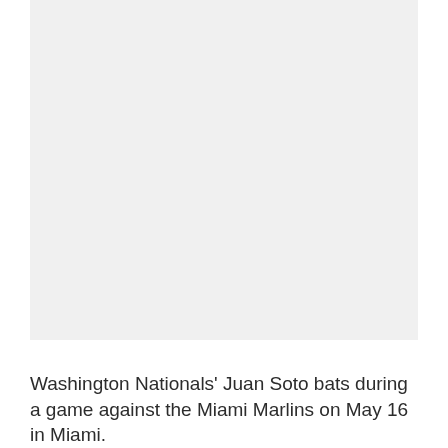[Figure (photo): A white/blank photo area placeholder showing Washington Nationals' Juan Soto batting during a game against the Miami Marlins]
Washington Nationals' Juan Soto bats during a game against the Miami Marlins on May 16 in Miami.